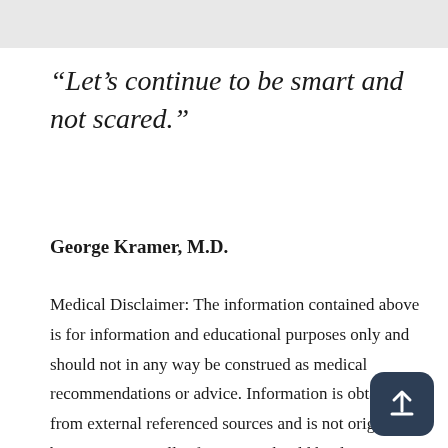“Let’s continue to be smart and not scared.”
George Kramer, M.D.
Medical Disclaimer: The information contained above is for information and educational purposes only and should not in any way be construed as medical recommendations or advice. Information is obtained from external referenced sources and is not originated by Dr. Kramer. All information should be discussed with your doctor or medical provider. Dr. Kramer is